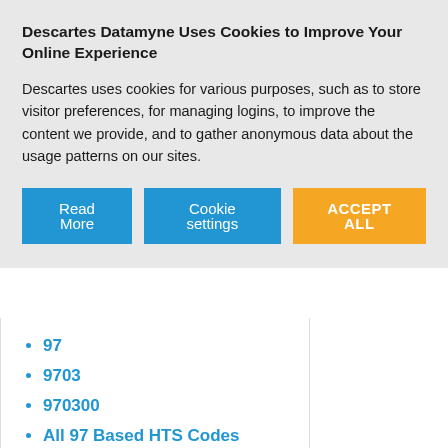Descartes Datamyne Uses Cookies to Improve Your Online Experience
Descartes uses cookies for various purposes, such as to store visitor preferences, for managing logins, to improve the content we provide, and to gather anonymous data about the usage patterns on our sites.
Read More | Cookie settings | ACCEPT ALL
Related HTS Codes:
97
9703
970300
All 97 Based HTS Codes